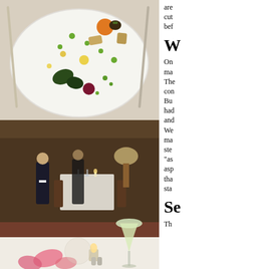[Figure (photo): Top-down view of an elegantly plated fine dining dish on a white plate, with colorful vegetables, dots of sauce, and garnishes arranged artistically. Silver cutlery visible on sides.]
[Figure (photo): Interior of a luxury fine dining restaurant with white tablecloths, candles, warm lighting, waitstaff in formal attire. Foreground shows a wine glass with white wine, candle, and rose petals on a white tablecloth.]
are cut bef
W
On ma The con Bu had and We ma ste "as asp tha sta
Se
Th